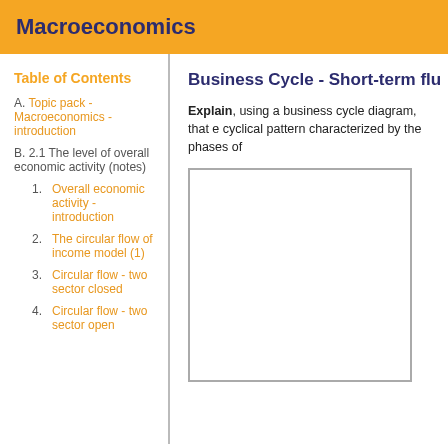Macroeconomics
Table of Contents
A. Topic pack - Macroeconomics - introduction
B. 2.1 The level of overall economic activity (notes)
1. Overall economic activity - introduction
2. The circular flow of income model (1)
3. Circular flow - two sector closed
4. Circular flow - two sector open
Business Cycle - Short-term flu
Explain, using a business cycle diagram, that e cyclical pattern characterized by the phases of
[Figure (other): Empty diagram box placeholder for business cycle diagram]